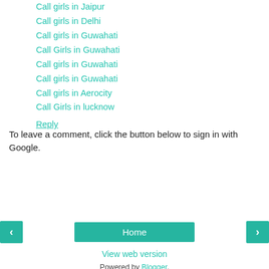Call girls in Jaipur
Call girls in Delhi
Call girls in Guwahati
Call Girls in Guwahati
Call girls in Guwahati
Call girls in Guwahati
Call girls in Aerocity
Call Girls in lucknow
Reply
To leave a comment, click the button below to sign in with Google.
SIGN IN WITH GOOGLE
Home
View web version
Powered by Blogger.